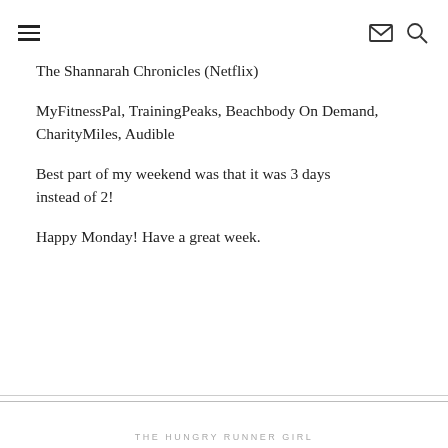☰  ✉  🔍
The Shannarah Chronicles (Netflix)
MyFitnessPal, TrainingPeaks, Beachbody On Demand, CharityMiles, Audible
Best part of my weekend was that it was 3 days instead of 2!
Happy Monday! Have a great week.
THE HUNGRY RUNNER GIRL